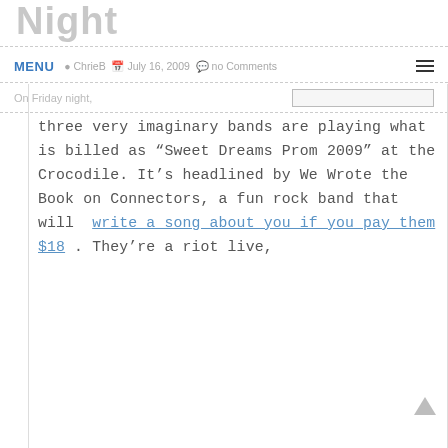Night
ChrieB  July 16, 2009  no Comments
On Friday night, three very imaginary bands are playing what is billed as “Sweet Dreams Prom 2009” at the Crocodile. It’s headlined by We Wrote the Book on Connectors, a fun rock band that will write a song about you if you pay them $18. They’re a riot live,